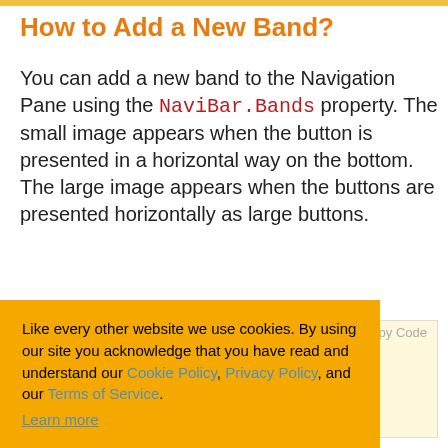How to Add a New Band?
You can add a new band to the Navigation Pane using the NaviBar.Bands property. The small image appears when the button is presented in a horizontal way on the bottom. The large image appears when the buttons are presented horizontally as large buttons.
[Figure (screenshot): Cookie consent banner overlay in orange/amber color with text about cookie policy, Cookie Policy and Privacy Policy links, Learn more link, and three buttons: Ask me later, Decline, Allow cookies]
1.Bands.Count